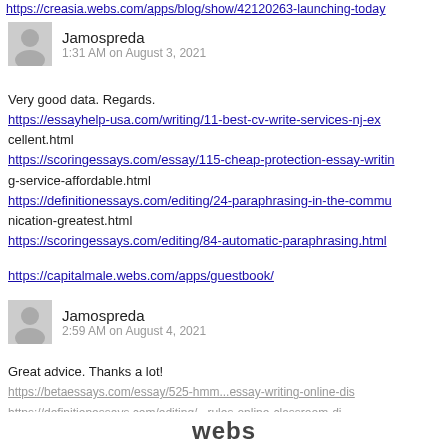https://creasia.webs.com/apps/blog/show/42120263-launching-today
[Figure (illustration): Gray avatar silhouette icon for user Jamospreda]
Jamospreda
1:31 AM on August 3, 2021
Very good data. Regards.
https://essayhelp-usa.com/writing/11-best-cv-write-services-nj-excellent.html
https://scoringessays.com/essay/115-cheap-protection-essay-writing-service-affordable.html
https://definitionessays.com/editing/24-paraphrasing-in-the-communication-greatest.html
https://scoringessays.com/editing/84-automatic-paraphrasing.html
https://capitalmale.webs.com/apps/guestbook/
[Figure (illustration): Gray avatar silhouette icon for user Jamospreda]
Jamospreda
2:59 AM on August 4, 2021
Great advice. Thanks a lot!
https://betaessays.com/essay/525-hmm...
https://definitionessays.com/editing/...
webs